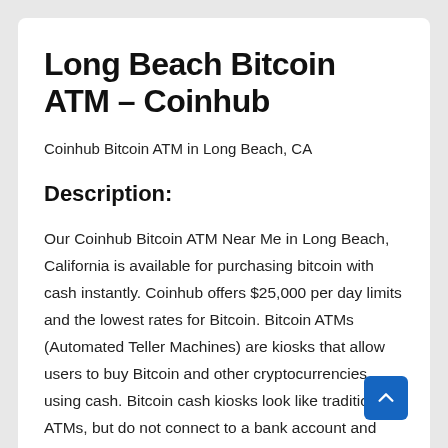Long Beach Bitcoin ATM – Coinhub
Coinhub Bitcoin ATM in Long Beach, CA
Description:
Our Coinhub Bitcoin ATM Near Me in Long Beach, California is available for purchasing bitcoin with cash instantly. Coinhub offers $25,000 per day limits and the lowest rates for Bitcoin. Bitcoin ATMs (Automated Teller Machines) are kiosks that allow users to buy Bitcoin and other cryptocurrencies using cash. Bitcoin cash kiosks look like traditional ATMs, but do not connect to a bank account and instead connect the user directly to a Bitcoin wallet or exchange. Coinhub